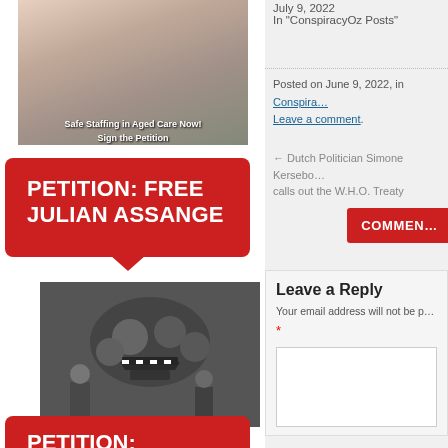[Figure (photo): Group selfie photo with text overlay 'Safe Staffing in Aged Care Now! Sign the Petition']
[Figure (illustration): Red button/banner: PETITION: FREE JULIAN ASSANGE]
[Figure (photo): Photo of Julian Assange being escorted by police officers]
[Figure (illustration): Red button/banner: PETITION: (cut off at bottom)]
July 9, 2022
In "ConspiracyOz Posts"
Posted on June 9, 2022, in Conspira… Leave a comment.
← Dutch Politician Simone Kersebo… calls out the W.H.O. Treaty
COMMEN…
Leave a Reply
Your email address will not be p…
*